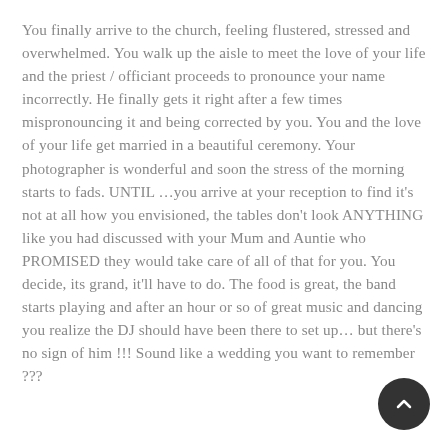You finally arrive to the church, feeling flustered, stressed and overwhelmed. You walk up the aisle to meet the love of your life and the priest / officiant proceeds to pronounce your name incorrectly. He finally gets it right after a few times mispronouncing it and being corrected by you. You and the love of your life get married in a beautiful ceremony. Your photographer is wonderful and soon the stress of the morning starts to fads. UNTIL …you arrive at your reception to find it's not at all how you envisioned, the tables don't look ANYTHING like you had discussed with your Mum and Auntie who PROMISED they would take care of all of that for you. You decide, its grand, it'll have to do. The food is great, the band starts playing and after an hour or so of great music and dancing you realize the DJ should have been there to set up… but there's no sign of him !!! Sound like a wedding you want to remember ???